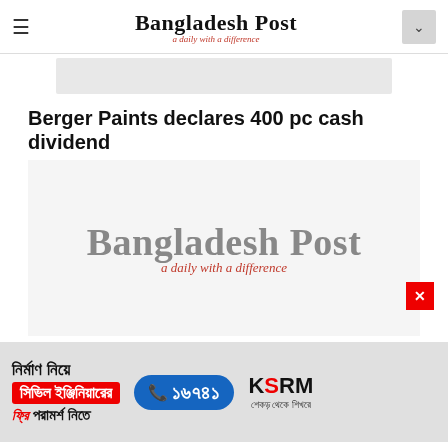Bangladesh Post — a daily with a difference
[Figure (other): Grey placeholder strip]
Berger Paints declares 400 pc cash dividend
[Figure (logo): Bangladesh Post logo — large version on light grey background with red close button]
[Figure (other): KSRM advertisement banner in Bengali with phone number 16741]